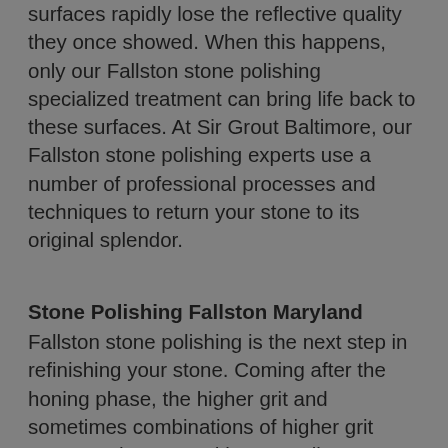surfaces rapidly lose the reflective quality they once showed. When this happens, only our Fallston stone polishing specialized treatment can bring life back to these surfaces. At Sir Grout Baltimore, our Fallston stone polishing experts use a number of professional processes and techniques to return your stone to its original splendor.
Stone Polishing Fallston Maryland
Fallston stone polishing is the next step in refinishing your stone. Coming after the honing phase, the higher grit and sometimes combinations of higher grit compounds are used by our Fallston stone polishing craftsmen to bring out your stone's sheen. During this process, a